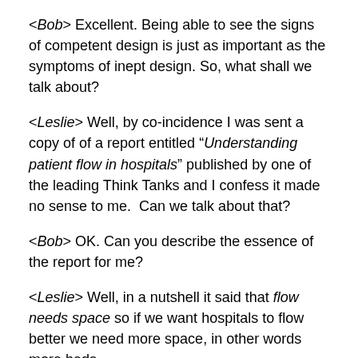<Bob> Excellent. Being able to see the signs of competent design is just as important as the symptoms of inept design. So, what shall we talk about?
<Leslie> Well, by co-incidence I was sent a copy of of a report entitled "Understanding patient flow in hospitals" published by one of the leading Think Tanks and I confess it made no sense to me.  Can we talk about that?
<Bob> OK. Can you describe the essence of the report for me?
<Leslie> Well, in a nutshell it said that flow needs space so if we want hospitals to flow better we need more space, in other words more beds.
<Bob> And what evidence was presented to support that hypothesis?